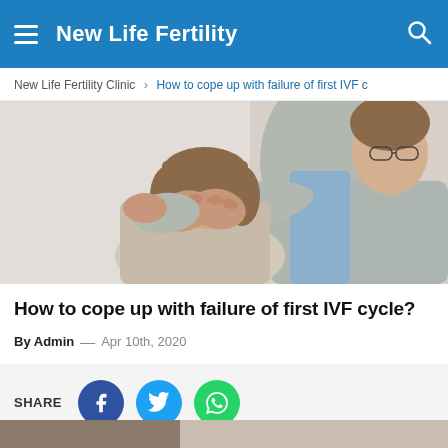New Life Fertility
New Life Fertility Clinic › How to cope up with failure of first IVF c
[Figure (photo): A person with head bowed into their hands being comforted by another person placing a hand on their shoulder]
How to cope up with failure of first IVF cycle?
By Admin — Apr 10th, 2020
SHARE [Facebook] [Twitter] [WhatsApp]